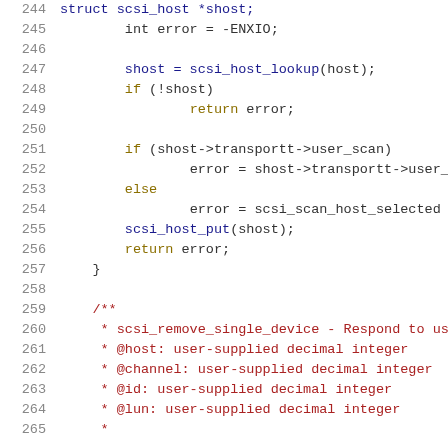Code listing lines 244-265, C source code
244: struct scsi_host *shost;
245:     int error = -ENXIO;
246: (blank)
247:     shost = scsi_host_lookup(host);
248:     if (!shost)
249:             return error;
250: (blank)
251:     if (shost->transportt->user_scan)
252:             error = shost->transportt->user_
253:     else
254:             error = scsi_scan_host_selected
255:     scsi_host_put(shost);
256:     return error;
257: }
258: (blank)
259: /**
260:  * scsi_remove_single_device - Respond to user
261:  * @host: user-supplied decimal integer
262:  * @channel: user-supplied decimal integer
263:  * @id: user-supplied decimal integer
264:  * @lun: user-supplied decimal integer
265:  *